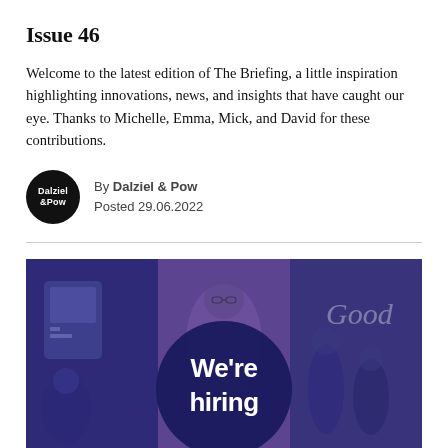Issue 46
Welcome to the latest edition of The Briefing, a little inspiration highlighting innovations, news, and insights that have caught our eye. Thanks to Michelle, Emma, Mick, and David for these contributions.
By Dalziel & Pow
Posted 29.06.2022
[Figure (photo): A collage banner image with a dark blue/purple overlay showing multiple scenes: a person on phone, a woman with glasses looking down, people in a retail or office environment, and a large dark navy circle in the center with white text reading 'We're hiring'. On the right side, cursive text reading 'Good'.]